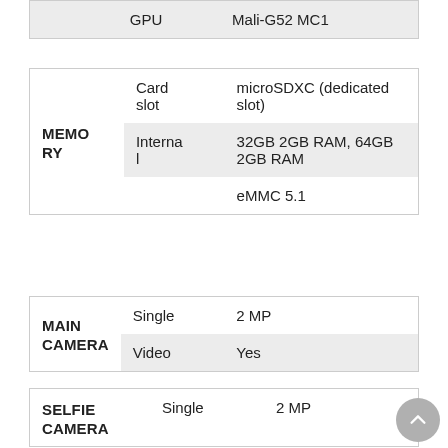|  | GPU | Mali-G52 MC1 |
| --- | --- | --- |
| MEMORY | Card slot | microSDXC (dedicated slot) |
| --- | --- | --- |
|  | Internal | 32GB 2GB RAM, 64GB 2GB RAM |
|  |  | eMMC 5.1 |
| MAIN CAMERA | Single | 2 MP |
| --- | --- | --- |
|  | Video | Yes |
| SELFIE CAMERA | Single | 2 MP |
| --- | --- | --- |